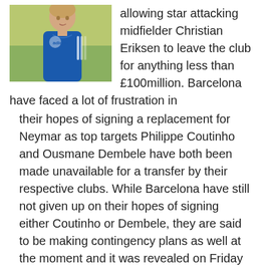[Figure (photo): Photo of a footballer wearing a blue jersey with adidas logo, outdoors with blurred green/yellow background]
allowing star attacking midfielder Christian Eriksen to leave the club for anything less than £100million. Barcelona have faced a lot of frustration in their hopes of signing a replacement for Neymar as top targets Philippe Coutinho and Ousmane Dembele have both been made unavailable for a transfer by their respective clubs. While Barcelona have still not given up on their hopes of signing either Coutinho or Dembele, they are said to be making contingency plans as well at the moment and it was revealed on Friday that the …
[Read more...]
Tottenham finally open